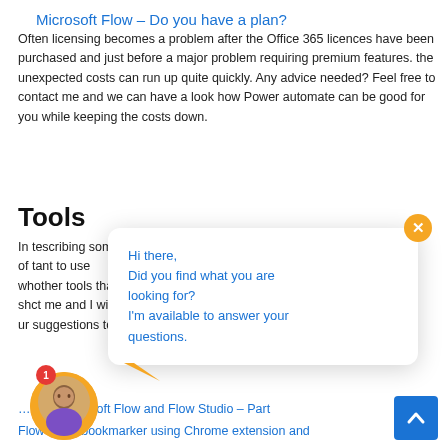Microsoft Flow – Do you have a plan?
Often licensing becomes a problem after the Office 365 licences have been purchased and just before a major problem requiring premium features. the unexpected costs can run up quite quickly. Any advice needed? Feel free to contact me and we can have a look how Power automate can be good for you while keeping the costs down.
Tools
In t… escribing some of t… ant to use wh… other tools that sh… ct me and I will … ur suggestions too.
[Figure (screenshot): Chat popup overlay with orange close button (×), message 'Hi there, Did you find what you are looking for? I'm available to answer your questions.' in blue text, with avatar bubble at bottom-left (person photo in orange circle with red notification badge showing 1), and blue scroll-to-top button at bottom-right]
… with Microsoft Flow and Flow Studio – Part
Flow-tastic bookmarker using Chrome extension and